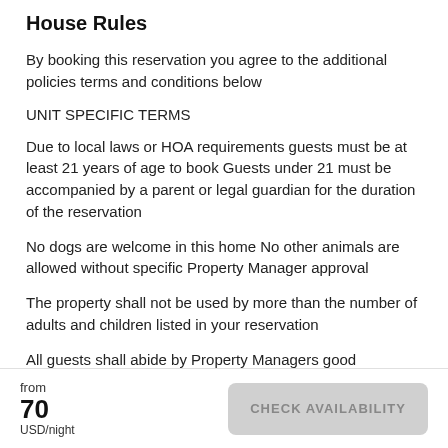House Rules
By booking this reservation you agree to the additional policies terms and conditions below
UNIT SPECIFIC TERMS
Due to local laws or HOA requirements guests must be at least 21 years of age to book Guests under 21 must be accompanied by a parent or legal guardian for the duration of the reservation
No dogs are welcome in this home No other animals are allowed without specific Property Manager approval
The property shall not be used by more than the number of adults and children listed in your reservation
All guests shall abide by Property Managers good
from 70 USD/night CHECK AVAILABILITY